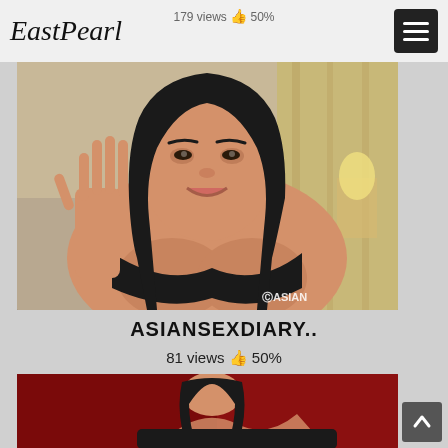EastPearl
179 views 👍 50%
[Figure (photo): Young Asian woman in black bra waving at camera in hotel room, watermark ASIAN visible bottom right]
ASIANSEXDIARY..
81 views 👍 50%
[Figure (photo): Partially visible photo of woman on red background, partially cropped]